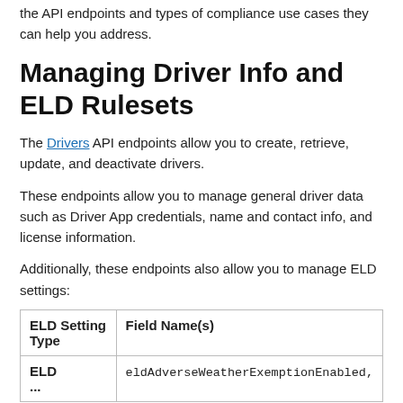the API endpoints and types of compliance use cases they can help you address.
Managing Driver Info and ELD Rulesets
The Drivers API endpoints allow you to create, retrieve, update, and deactivate drivers.
These endpoints allow you to manage general driver data such as Driver App credentials, name and contact info, and license information.
Additionally, these endpoints also allow you to manage ELD settings:
| ELD Setting Type | Field Name(s) |
| --- | --- |
| ELD... | eldAdverseWeatherExemptionEnabled, |